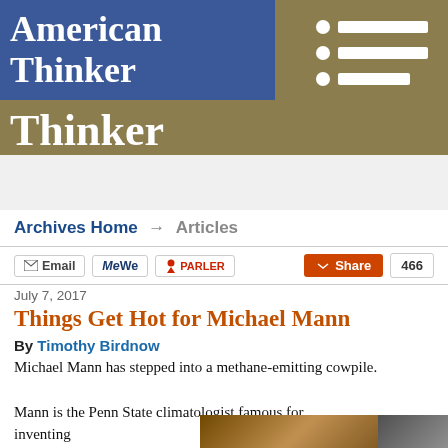American Thinker
Archives Home → Articles
Email | MeWe | PARLER | Share 466
July 7, 2017
Things Get Hot for Michael Mann
By Timothy Birdnow
Michael Mann has stepped into a methane-emitting cowpile.
Mann is the Penn State climatologist famous for inventing the notion that plan… century after a G… eading at a mini… rector of
[Figure (screenshot): Popup overlay with two sponsored content cards: 'Dems Raid Mar-A-Lago when They Should b... Infected' and 'A Tragic End Today For Willie Nelson Breaking News', with a close (X) button]